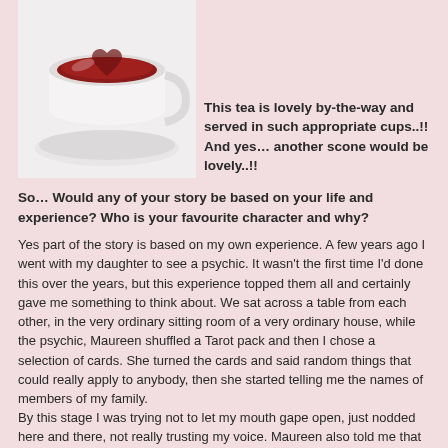[Figure (photo): A white teacup with red/dark tea viewed from above, on a white saucer, against a white background]
This tea is lovely by-the-way and served in such appropriate cups..!! And yes… another scone would be lovely..!!
So… Would any of your story be based on your life and experience? Who is your favourite character and why?
Yes part of the story is based on my own experience. A few years ago I went with my daughter to see a psychic. It wasn't the first time I'd done this over the years, but this experience topped them all and certainly gave me something to think about. We sat across a table from each other, in the very ordinary sitting room of a very ordinary house, while the psychic, Maureen shuffled a Tarot pack and then I chose a selection of cards. She turned the cards and said random things that could really apply to anybody, then she started telling me the names of members of my family.
By this stage I was trying not to let my mouth gape open, just nodded here and there, not really trusting my voice. Maureen also told me that